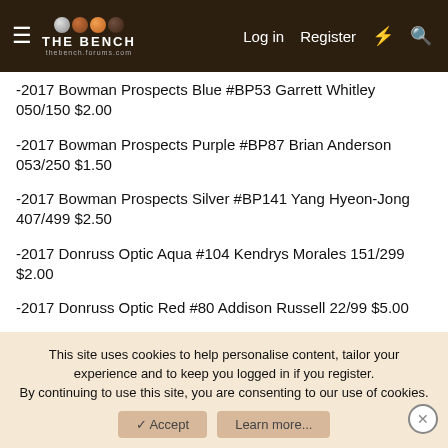THE BENCH — Log in | Register
-2017 Bowman Prospects Blue #BP53 Garrett Whitley 050/150 $2.00
-2017 Bowman Prospects Purple #BP87 Brian Anderson 053/250 $1.50
-2017 Bowman Prospects Silver #BP141 Yang Hyeon-Jong 407/499 $2.50
-2017 Donruss Optic Aqua #104 Kendrys Morales 151/299 $2.00
-2017 Donruss Optic Red #80 Addison Russell 22/99 $5.00
This site uses cookies to help personalise content, tailor your experience and to keep you logged in if you register. By continuing to use this site, you are consenting to our use of cookies.